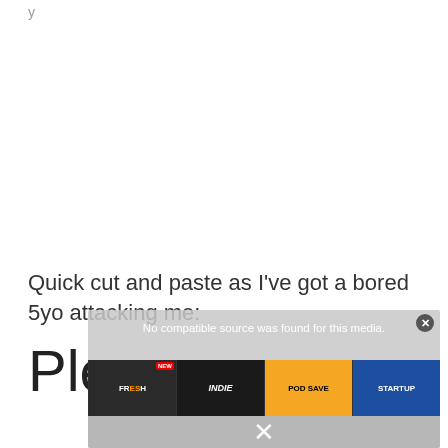y
Quick cut and paste as I've got a bored 5yo attacking me:
Ple
[Figure (screenshot): Video player overlay showing 'No compatible source was found for this media.' with podcast thumbnails (FRESH, Indie, POD SAVE, StartUp) and a close button, with a large X dismiss button below.]